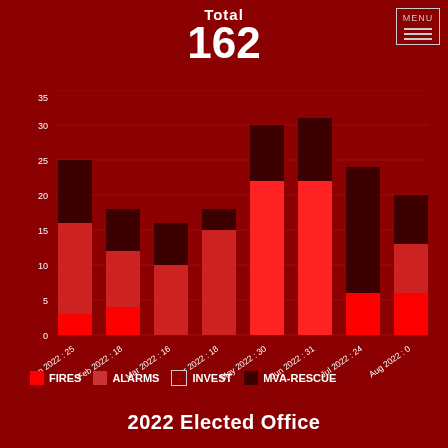MENU
Total 162
[Figure (stacked-bar-chart): Total 162]
FIRES   ALARMS   INVEST   MVA-RESCUE
2022 Elected Office